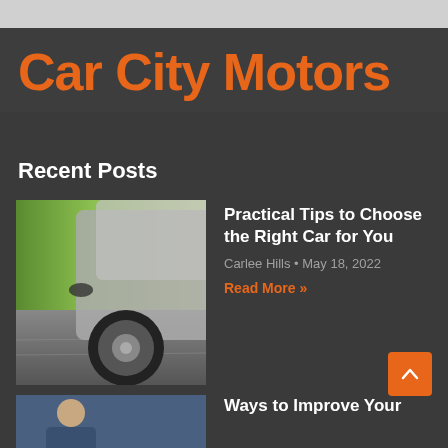Car City Motors
Recent Posts
[Figure (photo): Close-up photo of a car wheel and lower body in motion on a road, with green blurred background]
Practical Tips to Choose the Right Car for You
Carlee Hills • May 18, 2022
Read More »
[Figure (photo): Partial photo of a person, appears to be a portrait]
Ways to Improve Your